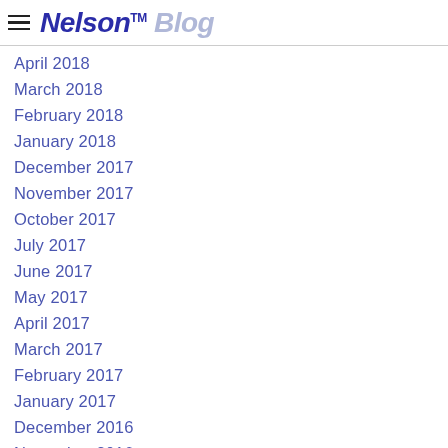Nelson™ Blog
April 2018
March 2018
February 2018
January 2018
December 2017
November 2017
October 2017
July 2017
June 2017
May 2017
April 2017
March 2017
February 2017
January 2017
December 2016
November 2016
October 2016